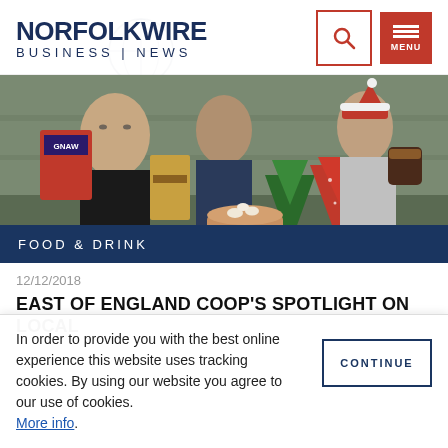[Figure (logo): NorfolkWire Business News logo with globe watermark]
[Figure (photo): Group of people in a store holding local food and drink products with Christmas decorations, including Christmas trees and a hot chocolate]
FOOD & DRINK
12/12/2018
EAST OF ENGLAND COOP'S SPOTLIGHT ON LOCAL
In order to provide you with the best online experience this website uses tracking cookies. By using our website you agree to our use of cookies. More info.